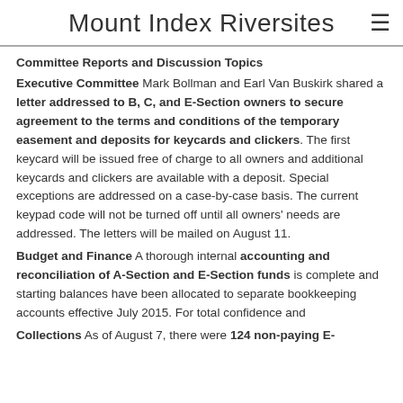Mount Index Riversites
Committee Reports and Discussion Topics
Executive Committee Mark Bollman and Earl Van Buskirk shared a letter addressed to B, C, and E-Section owners to secure agreement to the terms and conditions of the temporary easement and deposits for keycards and clickers. The first keycard will be issued free of charge to all owners and additional keycards and clickers are available with a deposit. Special exceptions are addressed on a case-by-case basis. The current keypad code will not be turned off until all owners' needs are addressed. The letters will be mailed on August 11.
Budget and Finance A thorough internal accounting and reconciliation of A-Section and E-Section funds is complete and starting balances have been allocated to separate bookkeeping accounts effective July 2015. For total confidence and
Collections As of August 7, there were 124 non-paying E-